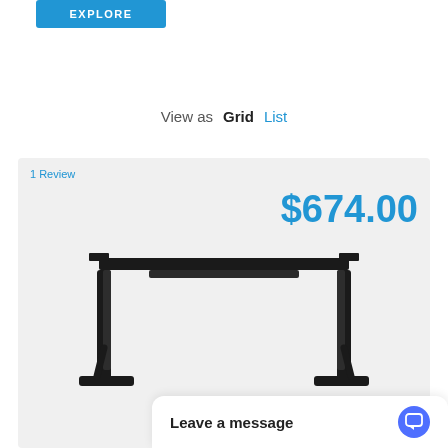[Figure (other): Blue EXPLORE button]
View as  Grid  List
1 Review
$674.00
[Figure (photo): Black standing desk frame product image]
Leave a message